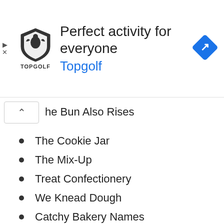[Figure (screenshot): Topgolf advertisement banner with shield logo, text 'Perfect activity for everyone' and 'Topgolf' in blue, and a blue navigation diamond icon on the right.]
he Bun Also Rises (partial)
The Cookie Jar
The Mix-Up
Treat Confectionery
We Knead Dough
Catchy Bakery Names
All Your Cake
Bake Off
Boardwalk Bakery
Cake Monkey Bakery
Cake O'Clock
Cakey Bakey